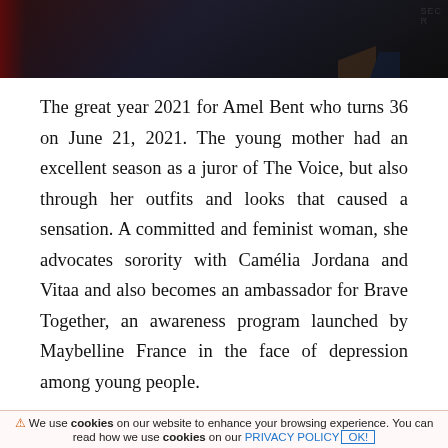[Figure (photo): Partial photo of a person on a dark stage background with orange and blue geometric shapes visible in the lower right, and 'SEC' text partially visible in upper right corner.]
The great year 2021 for Amel Bent who turns 36 on June 21, 2021. The young mother had an excellent season as a juror of The Voice, but also through her outfits and looks that caused a sensation. A committed and feminist woman, she advocates sorority with Camélia Jordana and Vitaa and also becomes an ambassador for Brave Together, an awareness program launched by Maybelline France in the face of depression among young people.
New look, even if she hates being told about her weight, Amel Bent is also and above all a real
⚠ We use cookies on our website to enhance your browsing experience. You can read how we use cookies on our PRIVACY POLICY OK!